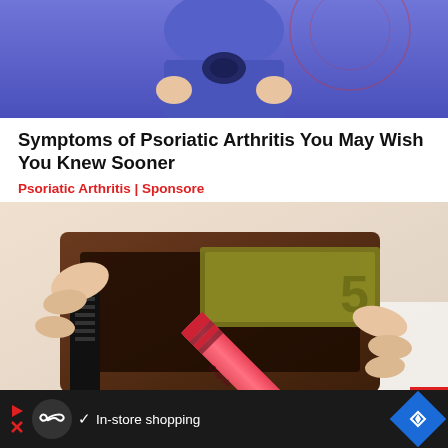[Figure (photo): Person wearing a blue athletic/compression outfit, torso and lower body visible, with a dark accessory at the waist/center]
Symptoms of Psoriatic Arthritis You May Wish You Knew Sooner
Psoriatic Arthritis | Sponsore
[Figure (photo): Hands opening a brown leather wallet with a pink/red Crayola crayon inside and euro banknotes visible]
[Figure (screenshot): Bottom advertisement bar on dark background with play icon, infinity logo circle, checkmark, 'In-store shopping' text, and blue diamond navigation icon. Also an X close button at bottom right.]